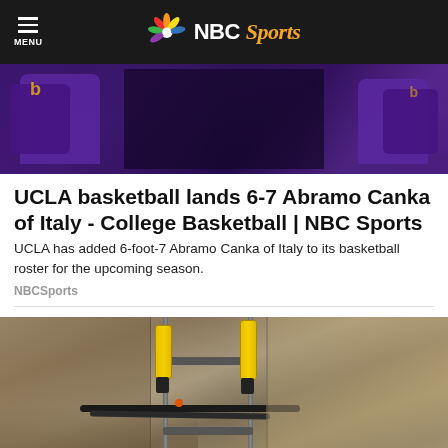MENU | NBC Sports
[Figure (photo): People in purple UCLA basketball uniforms with photographers in background]
UCLA basketball lands 6-7 Abramo Canka of Italy - College Basketball | NBC Sports
UCLA has added 6-foot-7 Abramo Canka of Italy to its basketball roster for the upcoming season.
NBCSports
[Figure (photo): Construction/engineering equipment with yellow hydraulic tools mounted on stone wall]